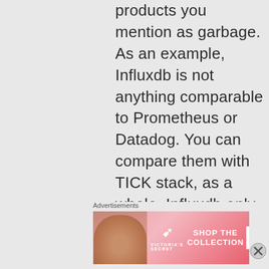products you mention as garbage. As an example, Influxdb is not anything comparable to Prometheus or Datadog. You can compare them with TICK stack, as a whole. Influxdb only deals with time series storage engine, and it is a rock solid
Advertisements
[Figure (photo): Victoria's Secret advertisement banner with a woman's face on the left, Victoria's Secret logo in the center, 'SHOP THE COLLECTION' text, and a 'SHOP NOW' button on the right.]